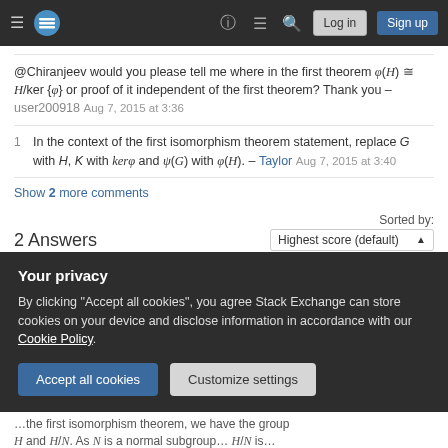Stack Exchange navigation bar with hamburger menu, logo, help, chat, search icons, Log in and Sign up buttons
@Chiranjeev would you please tell me where in the first theorem φ(H) ≅ H/ker{φ} or proof of it independent of the first theorem? Thank you – user200918 Aug 7, 2015 at 3:36
1  In the context of the first isomorphism theorem statement, replace G with H, K with kerφ and ψ(G) with φ(H). – Taylor Aug 7, 2015 at 3:40
Show 2 more comments
2 Answers
Sorted by: Highest score (default)
Your privacy
By clicking "Accept all cookies", you agree Stack Exchange can store cookies on your device and disclose information in accordance with our Cookie Policy.
Accept all cookies    Customize settings
...first isomorphism theorem, we have the group... H and H/N. As N is a normal subgroup... H/N is...